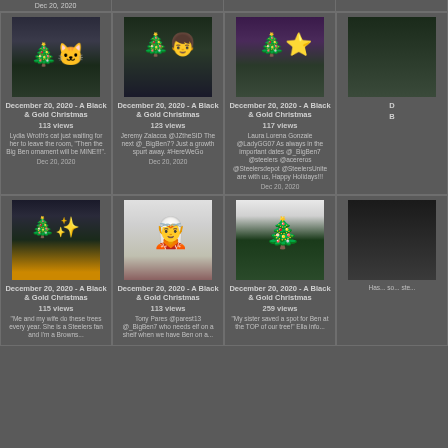Dec 20, 2020
[Figure (photo): Christmas tree with a cat]
December 20, 2020 - A Black & Gold Christmas
113 views
Lydia Wroth's cat just waiting for her to leave the room, "Then the Big Ben ornament will be MINE!!!".
Dec 20, 2020
[Figure (photo): Kid in Steelers outfit in front of Christmas tree]
December 20, 2020 - A Black & Gold Christmas
123 views
Jeremy Zalacca @JZtheSID The next @_BigBen7? Just a growth spurt away. #HereWeGo
Dec 20, 2020
[Figure (photo): Christmas tree against purple wall]
December 20, 2020 - A Black & Gold Christmas
117 views
Laura Lorena Gonzale @LadyGG07 As always in the important dates @_BigBen7 @steelers @acereros @Steelersdepot @SteelersUnite are with us, Happy Holidays!!!
Dec 20, 2020
[Figure (photo): Partial image cropped on right]
D... B...
[Figure (photo): Christmas tree with gold lights]
December 20, 2020 - A Black & Gold Christmas
115 views
"Me and my wife do these trees every year. She is a Steelers fan and I'm a Browns...
Dec 20, 2020
[Figure (photo): Kid dressed as elf on Christmas decoration]
December 20, 2020 - A Black & Gold Christmas
113 views
Tony Pares @parest13 @_BigBen7 who needs elf on a shelf when we have Ben on a...
Dec 20, 2020
[Figure (photo): Small sparse Christmas tree with ornaments]
December 20, 2020 - A Black & Gold Christmas
259 views
"My sister saved a spot for Ben at the TOP of our tree!" Ella info...
Dec 20, 2020
[Figure (photo): Partial image cropped on right]
Has... so... ste...